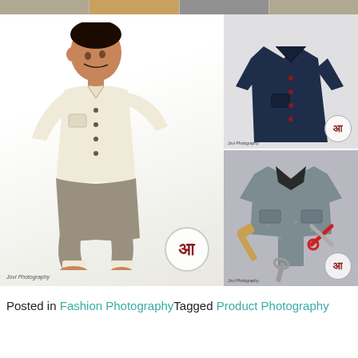[Figure (photo): Collage of children's fashion photography: top strip shows thumbnail product photos (shoes, clothing items). Main large photo shows a young boy posing in a cream/off-white short-sleeve button-up shirt and grey harem pants on a white background with a brand watermark. Top right shows a dark navy blue short-sleeve children's shirt laid flat on a light background with a brand watermark. Bottom right shows a grey patterned children's jumpsuit/romper laid flat with toy tools (mallet, scissors, wrench) as props, with a brand watermark.]
Posted in Fashion PhotographyTagged Product Photography